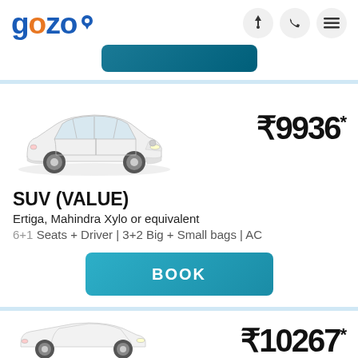[Figure (logo): Gozo car rental logo in blue with orange letter O and map pin icon]
[Figure (other): Top navigation icons: lightning bolt, phone, menu]
[Figure (other): Partial blue BOOK button from previous listing]
[Figure (photo): White Maruti Ertiga SUV car photo facing left]
₹9936*
SUV (VALUE)
Ertiga, Mahindra Xylo or equivalent
6+1 Seats + Driver | 3+2 Big + Small bags | AC
BOOK
[Figure (photo): Partial white sedan car photo at bottom of page]
₹10267*